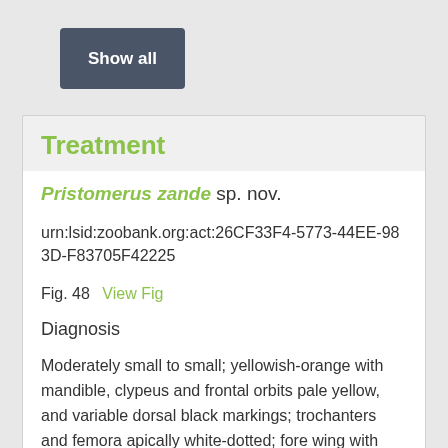[Figure (other): Show all button - dark grey/slate colored button with white bold text]
Treatment
Pristomerus zande sp. nov.
urn:lsid:zoobank.org:act:26CF33F4-5773-44EE-983D-F83705F42225
Fig. 48   View Fig
Diagnosis
Moderately small to small; yellowish-orange with mandible, clypeus and frontal orbits pale yellow, and variable dorsal black markings; trochanters and femora apically white-dotted; fore wing with anterior edge of pterostigma whitish; face densely punctate-granulate, clypeus almost entirely smooth, remainder of head coricaceous; clypeus strongly transverse; malar line